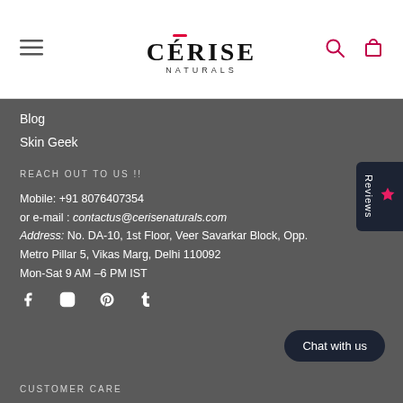[Figure (logo): Cérise Naturals logo — text logo with red accent on the E, in black serif font, with hamburger menu icon on left, search and cart icons on right]
Blog
Skin Geek
REACH OUT TO US !!
Mobile: +91 8076407354
or e-mail : contactus@cerisenaturals.com
Address: No. DA-10, 1st Floor, Veer Savarkar Block, Opp. Metro Pillar 5, Vikas Marg, Delhi 110092
Mon-Sat 9 AM –6 PM IST
[Figure (infographic): Social media icons: Facebook, Instagram, Pinterest, Tumblr]
CUSTOMER CARE